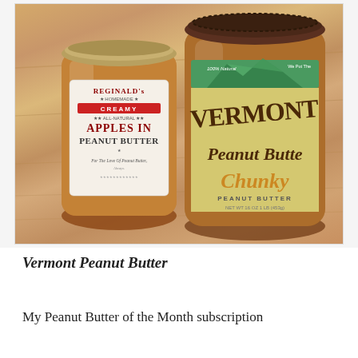[Figure (photo): Two jars of peanut butter on a wooden surface. Left jar: Reginald's Homemade Creamy All-Natural Apples in Peanut Butter. Right jar: Vermont Peanut Butter Chunky.]
Vermont Peanut Butter
My Peanut Butter of the Month subscription